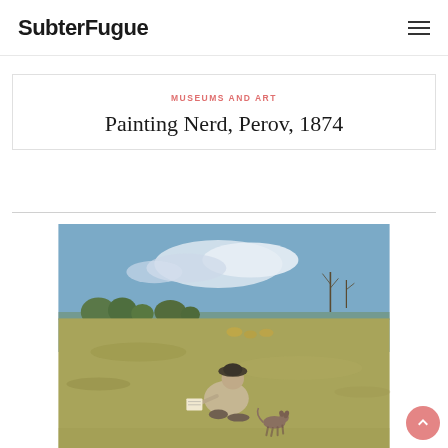SubterFugue
MUSEUMS AND ART
Painting Nerd, Perov, 1874
[Figure (illustration): A 19th-century oil painting by Perov (1874) showing a person crouching in a wide open field, sketching or painting, with a small dog nearby, trees in the background, and a blue sky with clouds above.]